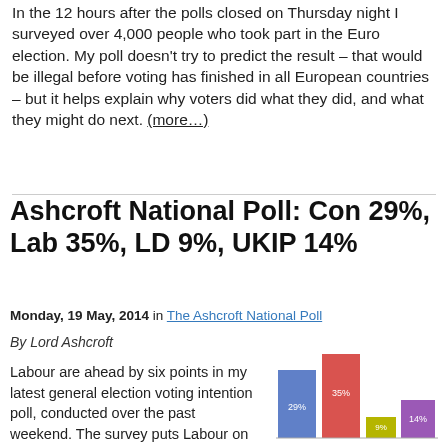In the 12 hours after the polls closed on Thursday night I surveyed over 4,000 people who took part in the Euro election. My poll doesn't try to predict the result – that would be illegal before voting has finished in all European countries – but it helps explain why voters did what they did, and what they might do next. (more…)
Ashcroft National Poll: Con 29%, Lab 35%, LD 9%, UKIP 14%
Monday, 19 May, 2014 in The Ashcroft National Poll
By Lord Ashcroft
Labour are ahead by six points in my latest general election voting intention poll, conducted over the past weekend. The survey puts Labour on 35% (up three points since last week), the Conservatives on 29% (down five), the Lib Dem…
[Figure (bar-chart): The Ashcroft National Poll]
The Ashcroft National Poll